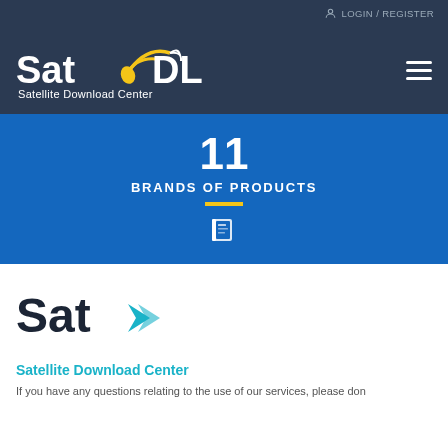LOGIN / REGISTER
[Figure (logo): SatDL Satellite Download Center logo with satellite dish icon, white text on dark navy background]
11
BRANDS OF PRODUCTS
[Figure (logo): SatL logo with dark text and teal/blue arrow icon]
Satellite Download Center
If you have any questions relating to the use of our services, please don't